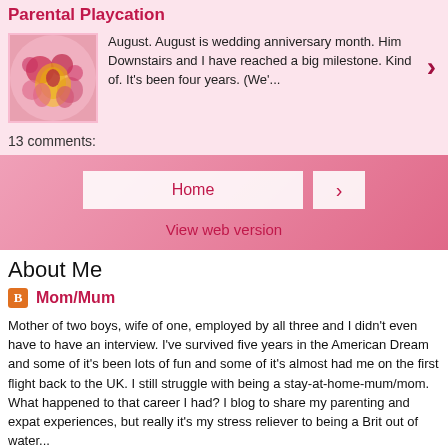Parental Playcation
August. August is wedding anniversary month. Him Downstairs and I have reached a big milestone. Kind of. It's been four years. (We'...
13 comments:
Home
View web version
About Me
Mom/Mum
Mother of two boys, wife of one, employed by all three and I didn't even have to have an interview. I've survived five years in the American Dream and some of it's been lots of fun and some of it's almost had me on the first flight back to the UK. I still struggle with being a stay-at-home-mum/mom. What happened to that career I had? I blog to share my parenting and expat experiences, but really it's my stress reliever to being a Brit out of water...
View my complete profile